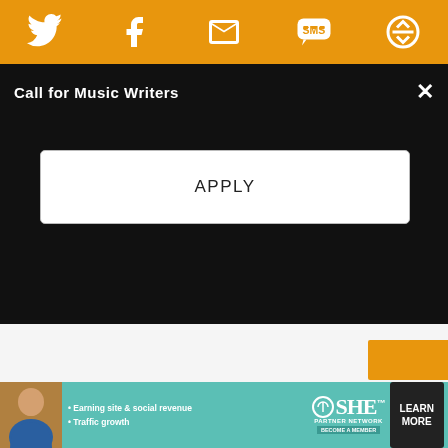[Figure (screenshot): Orange navigation bar with social sharing icons: Twitter bird, Facebook f, envelope/email, SMS speech bubble, and a sync/share icon]
Call for Music Writers
APPLY
[Figure (screenshot): Advertisement banner for SHE Partner Network - Earning site & social revenue, Traffic growth. LEARN MORE button.]